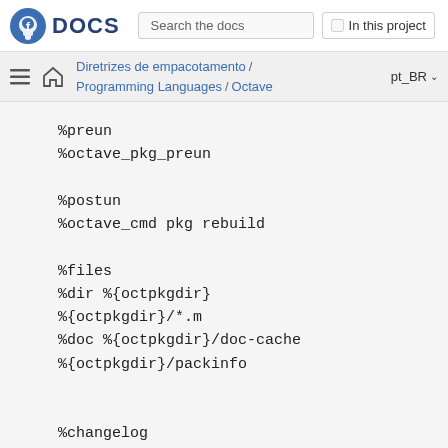Fedora DOCS | Search the docs | In this project
Diretrizes de empacotamento / Programming Languages / Octave | pt_BR
%preun
%octave_pkg_preun

%postun
%octave_cmd pkg rebuild

%files
%dir %{octpkgdir}
%{octpkgdir}/*.m
%doc %{octpkgdir}/doc-cache
%{octpkgdir}/packinfo


%changelog